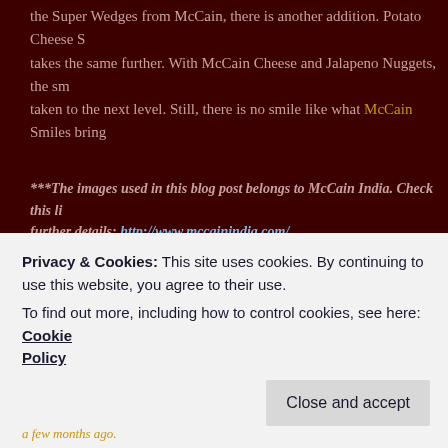the Super Wedges from McCain, there is another addition. Potato Cheese S takes the same further. With McCain Cheese and Jalapeno Nuggets, the sm taken to the next level. Still, there is no smile like what McCain Smiles bring
***The images used in this blog post belongs to McCain India. Check this li further details: http://www.mccainindia.com/
TeNy
A Few Extra Smiles
OCTOBER 8, 2015
It was one of those days at the Dracula Castle with lesser darkness and mo The clouds were still approaching from a distance. Dracula was not presen
Privacy & Cookies: This site uses cookies. By continuing to use this website, you agree to their use.
To find out more, including how to control cookies, see here: Cookie Policy
a few months ago.